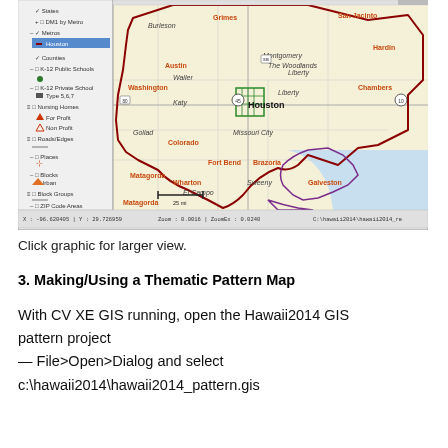[Figure (screenshot): GIS software window showing a map of the Houston, Texas metropolitan area with a layer panel on the left listing States, DM1 by Metro, Metros (Houston highlighted), Counties, K-12 Public Schools, K-12 Private Schools, Nursing Homes, Roads/Edges, Places, Blocks, Block Groups, ZIP Code Areas. The map shows county boundaries with a red outline for the metro area and purple outline near Galveston. Status bar at bottom shows coordinates and zoom level.]
Click graphic for larger view.
3. Making/Using a Thematic Pattern Map
With CV XE GIS running, open the Hawaii2014 GIS pattern project
— File>Open>Dialog and select
c:\hawaii2014\hawaii2014_pattern.gis